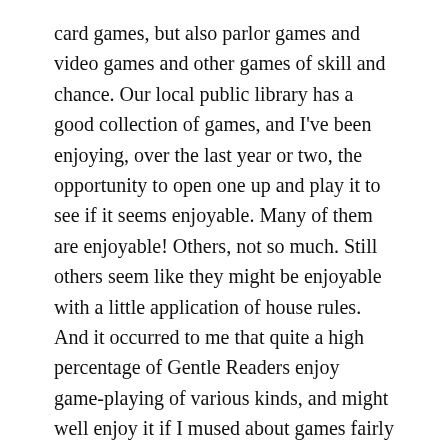card games, but also parlor games and video games and other games of skill and chance. Our local public library has a good collection of games, and I've been enjoying, over the last year or two, the opportunity to open one up and play it to see if it seems enjoyable. Many of them are enjoyable! Others, not so much. Still others seem like they might be enjoyable with a little application of house rules. And it occurred to me that quite a high percentage of Gentle Readers enjoy game-playing of various kinds, and might well enjoy it if I mused about games fairly often.
So. A new category.
I'll open it up, though, with a discussion of the